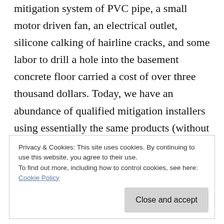mitigation system of PVC pipe, a small motor driven fan, an electrical outlet, silicone calking of hairline cracks, and some labor to drill a hole into the basement concrete floor carried a cost of over three thousand dollars. Today, we have an abundance of qualified mitigation installers using essentially the same products (without the silicone caulk), and including a follow up test showing the radon level is below the EPA action level for a cost of under One thousand dollars.
The $150 cost of the initial test to tell you you have radon gas is 10% of the probable cost to cure. That in
Privacy & Cookies: This site uses cookies. By continuing to use this website, you agree to their use.
To find out more, including how to control cookies, see here:
Cookie Policy
Close and accept